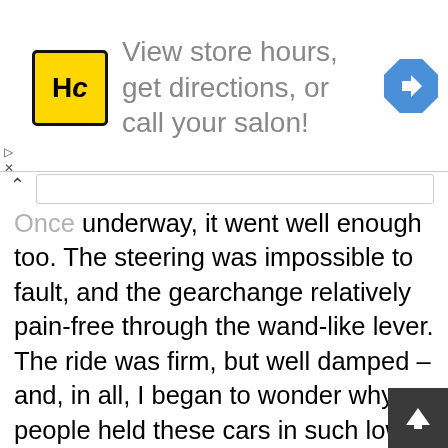[Figure (screenshot): Advertisement banner with HC logo (yellow square with black border and HC text), text 'View store hours, get directions, or call your salon!' in grey, and a blue diamond direction arrow icon on the right.]
Once underway, it went well enough too. The steering was impossible to fault, and the gearchange relatively pain-free through the wand-like lever. The ride was firm, but well damped – and, in all, I began to wonder why people held these cars in such low esteem, as it all felt so solid and planted.

However, that honeymoon of discovery soon faded. A random homebrew switch